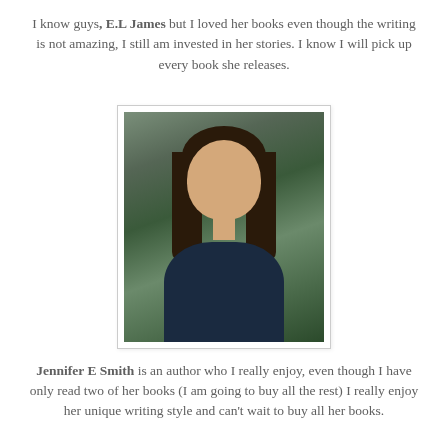I know guys, E.L James but I loved her books even though the writing is not amazing, I still am invested in her stories. I know I will pick up every book she releases.
[Figure (photo): Portrait photo of a smiling woman with dark shoulder-length hair wearing a dark top, outdoors with green trees in background.]
Jennifer E Smith is an author who I really enjoy, even though I have only read two of her books (I am going to buy all the rest) I really enjoy her unique writing style and can't wait to buy all her books.